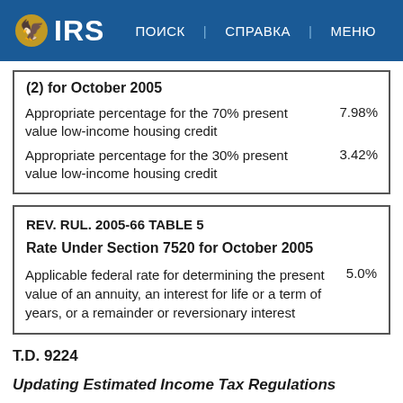IRS | ПОИСК | СПРАВКА | МЕНЮ
| (2) for October 2005 |  |
| --- | --- |
| Appropriate percentage for the 70% present value low-income housing credit | 7.98% |
| Appropriate percentage for the 30% present value low-income housing credit | 3.42% |
| REV. RUL. 2005-66 TABLE 5 |  |
| --- | --- |
| Rate Under Section 7520 for October 2005 |  |
| Applicable federal rate for determining the present value of an annuity, an interest for life or a term of years, or a remainder or reversionary interest | 5.0% |
T.D. 9224
Updating Estimated Income Tax Regulations